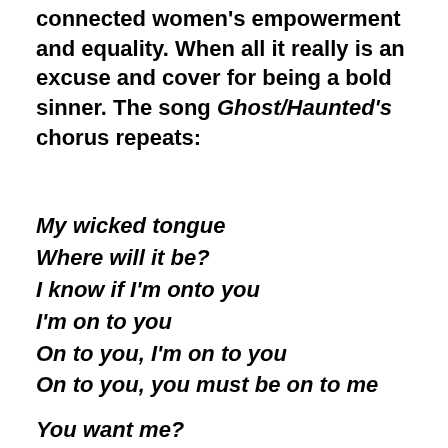connected women's empowerment and equality. When all it really is an excuse and cover for being a bold sinner. The song Ghost/Haunted's chorus repeats:
My wicked tongue
Where will it be?
I know if I'm onto you
I'm on to you
On to you, I'm on to you
On to you, you must be on to me
You want me?